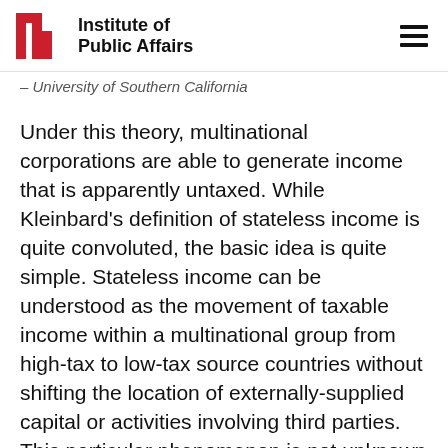Institute of Public Affairs
University of Southern California
Under this theory, multinational corporations are able to generate income that is apparently untaxed. While Kleinbard’s definition of stateless income is quite convoluted, the basic idea is quite simple. Stateless income can be understood as the movement of taxable income within a multinational group from high-tax to low-tax source countries without shifting the location of externally-supplied capital or activities involving third parties. This particular phenomenon is not unknown or even unusual—yet Kleinbard